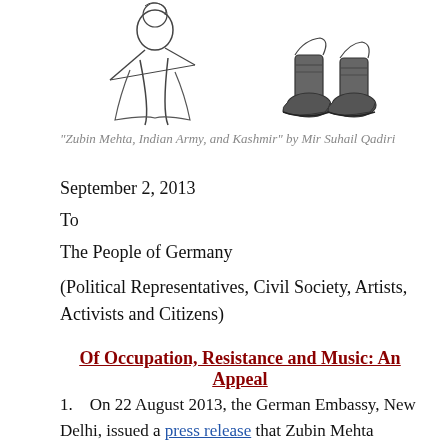[Figure (illustration): Two pen-and-ink cartoon illustrations: on the left, a figure playing a violin or conducting, on the right, two boot-clad legs/feet (military style). These form a satirical cartoon.]
"Zubin Mehta, Indian Army, and Kashmir" by Mir Suhail Qadiri
September 2, 2013
To
The People of Germany
(Political Representatives, Civil Society, Artists, Activists and Citizens)
Of Occupation, Resistance and Music: An Appeal
1.    On 22 August 2013, the German Embassy, New Delhi, issued a press release that Zubin Mehta would be conducting an orchestra on 7 September 2013, at the Mughal Garden, Shalimar Bagh, in Srinagar, Jammu and